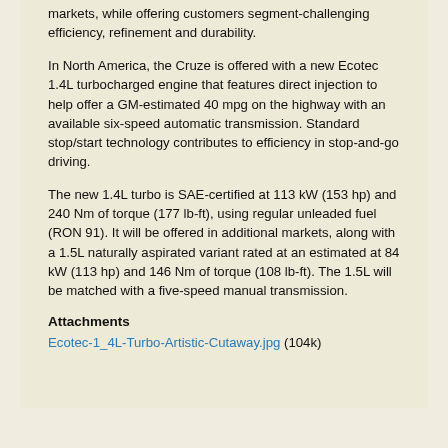markets, while offering customers segment-challenging efficiency, refinement and durability.
In North America, the Cruze is offered with a new Ecotec 1.4L turbocharged engine that features direct injection to help offer a GM-estimated 40 mpg on the highway with an available six-speed automatic transmission. Standard stop/start technology contributes to efficiency in stop-and-go driving.
The new 1.4L turbo is SAE-certified at 113 kW (153 hp) and 240 Nm of torque (177 lb-ft), using regular unleaded fuel (RON 91). It will be offered in additional markets, along with a 1.5L naturally aspirated variant rated at an estimated at 84 kW (113 hp) and 146 Nm of torque (108 lb-ft). The 1.5L will be matched with a five-speed manual transmission.
Attachments
Ecotec-1_4L-Turbo-Artistic-Cutaway.jpg (104k)